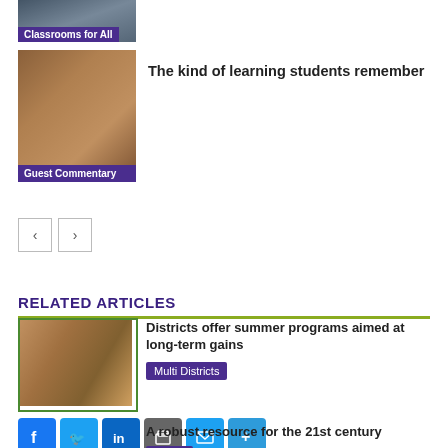[Figure (photo): Partial top image with 'Classrooms for All' label]
[Figure (photo): Students working together at a table, 'Guest Commentary' label]
The kind of learning students remember
< >  pagination buttons
RELATED ARTICLES
[Figure (photo): Student writing, green border]
Districts offer summer programs aimed at long-term gains
Multi Districts
Social share buttons: Facebook, Twitter, LinkedIn, Print, Email, Share
[Figure (photo): Students sitting, second related article]
A robust resource for the 21st century
Lowell